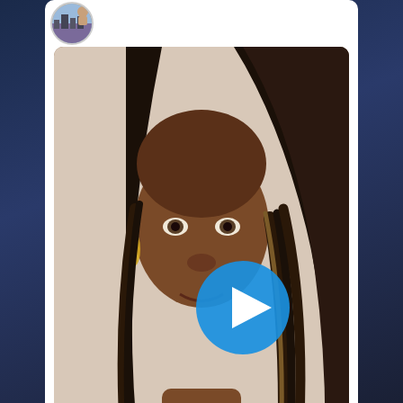[Figure (screenshot): Social media (Twitter) post screenshot showing a woman with dreadlocks, a video thumbnail with a play button overlay, and a 'VACAY MODE' colorful sticker graphic. Below the video are engagement icons showing 1 comment and 2 likes. A second post preview is partially visible at the bottom of the card.]
CALENDAR